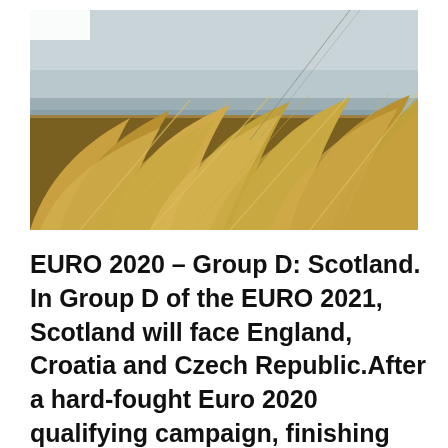[Figure (photo): Landscape photo of tall golden-brown beach grass/reeds bending in the wind on sand dunes, with a grey overcast sky and flat coastal water visible in the background.]
EURO 2020 – Group D: Scotland. In Group D of the EURO 2021, Scotland will face England, Croatia and Czech Republic.After a hard-fought Euro 2020 qualifying campaign, finishing third in Group I and then beating Israel in the playoffs, Andy Robertson-led Scotland managed to enter